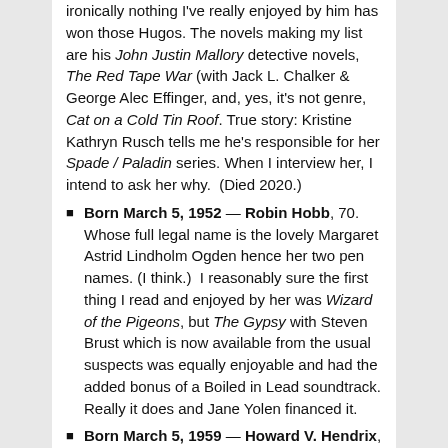ironically nothing I've really enjoyed by him has won those Hugos. The novels making my list are his John Justin Mallory detective novels, The Red Tape War (with Jack L. Chalker & George Alec Effinger, and, yes, it's not genre, Cat on a Cold Tin Roof. True story: Kristine Kathryn Rusch tells me he's responsible for her Spade / Paladin series. When I interview her, I intend to ask her why.  (Died 2020.)
Born March 5, 1952 — Robin Hobb, 70. Whose full legal name is the lovely Margaret Astrid Lindholm Ogden hence her two pen names. (I think.)  I reasonably sure the first thing I read and enjoyed by her was Wizard of the Pigeons, but The Gypsy with Steven Brust which is now available from the usual suspects was equally enjoyable and had the added bonus of a Boiled in Lead soundtrack. Really it does and Jane Yolen financed it.
Born March 5, 1959 — Howard V. Hendrix, 63. Empty Cities of the Full Moon is damn impressive as the Labyrinth Key duology. He's done an amazing amount of quite excellent short fiction, the latest